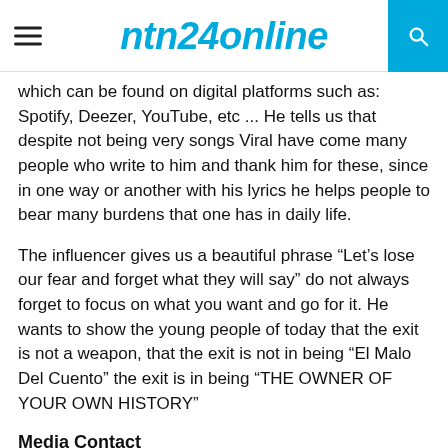ntn24online
which can be found on digital platforms such as: Spotify, Deezer, YouTube, etc ... He tells us that despite not being very songs Viral have come many people who write to him and thank him for these, since in one way or another with his lyrics he helps people to bear many burdens that one has in daily life.
The influencer gives us a beautiful phrase “Let’s lose our fear and forget what they will say” do not always forget to focus on what you want and go for it. He wants to show the young people of today that the exit is not a weapon, that the exit is not in being “El Malo Del Cuento” the exit is in being “THE OWNER OF YOUR OWN HISTORY”
Media Contact
Company Name :- Popcol